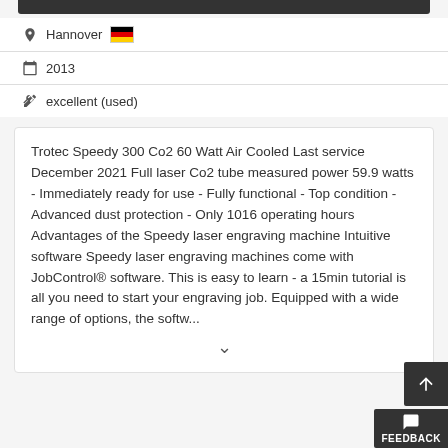Hannover [Germany flag]
2013
excellent (used)
Trotec Speedy 300 Co2 60 Watt Air Cooled Last service December 2021 Full laser Co2 tube measured power 59.9 watts - Immediately ready for use - Fully functional - Top condition - Advanced dust protection - Only 1016 operating hours Advantages of the Speedy laser engraving machine Intuitive software Speedy laser engraving machines come with JobControl® software. This is easy to learn - a 15min tutorial is all you need to start your engraving job. Equipped with a wide range of options, the softw...